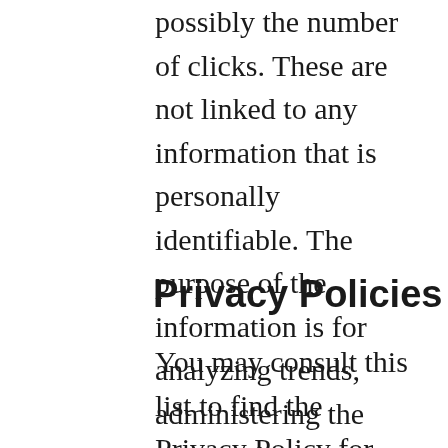possibly the number of clicks. These are not linked to any information that is personally identifiable. The purpose of the information is for analyzing trends, administering the site, tracking users' movement on the website, and gathering demographic information.
Privacy Policies
You may consult this list to find the Privacy Policy for each of the advertising partners of https://groomingstudiosa.com. Our